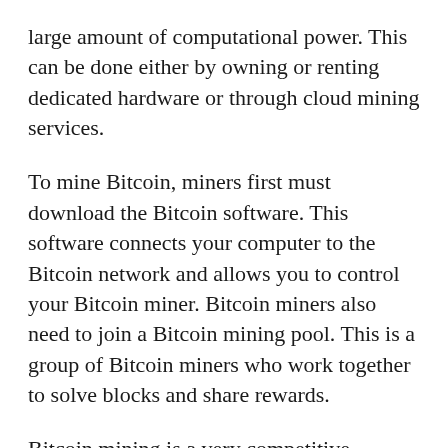large amount of computational power. This can be done either by owning or renting dedicated hardware or through cloud mining services.
To mine Bitcoin, miners first must download the Bitcoin software. This software connects your computer to the Bitcoin network and allows you to control your Bitcoin miner. Bitcoin miners also need to join a Bitcoin mining pool. This is a group of Bitcoin miners who work together to solve blocks and share rewards.
Bitcoin mining is a very competitive business. In order to be profitable, miners must have access to the latest mining hardware and software. They must also be able to afford large amounts of electricity. As a result, only a few companies are able to dominate the Bitcoin mining market. These companies include Bitmain,